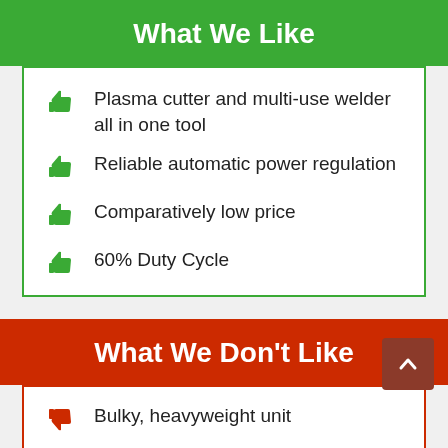What We Like
Plasma cutter and multi-use welder all in one tool
Reliable automatic power regulation
Comparatively low price
60% Duty Cycle
What We Don't Like
Bulky, heavyweight unit